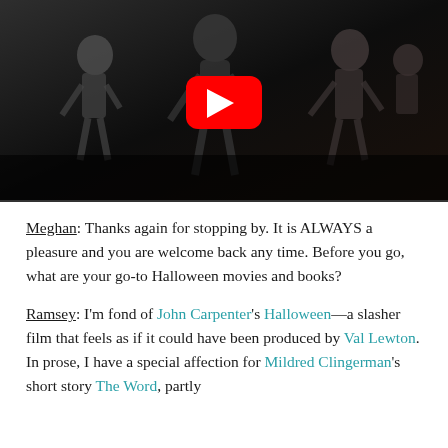[Figure (screenshot): YouTube video thumbnail showing animated skeleton/zombie figures in a dark scene with a red YouTube play button in the center]
Meghan: Thanks again for stopping by. It is ALWAYS a pleasure and you are welcome back any time. Before you go, what are your go-to Halloween movies and books?
Ramsey: I'm fond of John Carpenter's Halloween—a slasher film that feels as if it could have been produced by Val Lewton. In prose, I have a special affection for Mildred Clingerman's short story The Word, partly